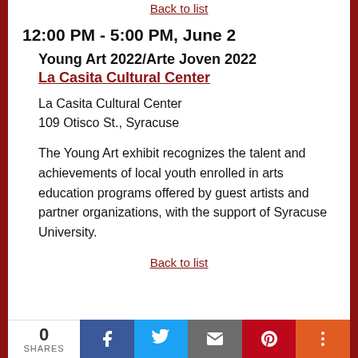Back to list
12:00 PM - 5:00 PM, June 2
Young Art 2022/Arte Joven 2022
La Casita Cultural Center
La Casita Cultural Center
109 Otisco St., Syracuse
The Young Art exhibit recognizes the talent and achievements of local youth enrolled in arts education programs offered by guest artists and partner organizations, with the support of Syracuse University.
Back to list
[Figure (infographic): Social share bar with 0 SHARES count, Facebook, Twitter, Email, Pinterest, and More buttons]